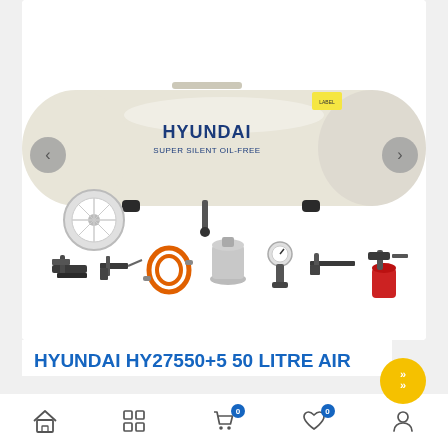[Figure (photo): Hyundai HY27550+5 super silent oil-free air compressor with 5 accessories: blow gun, air spray gun, coiled orange hose, blow gun with cap, pressure gauge gun, long blow gun, and chemical sprayer with red container. White tank with Hyundai branding. Navigation arrows on left and right.]
HYUNDAI HY27550+5 50 LITRE AIR COMPRESSOR, 11CFM/100PSI, OIL FREE, LOW NOISE, ELECTRIC SUP WITH 5